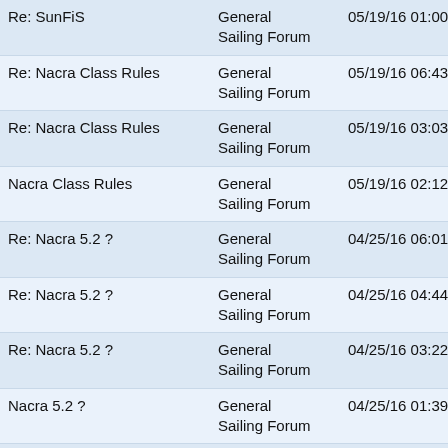| Re: SunFiS | General
Sailing Forum | 05/19/16 01:00 PM |
| Re: Nacra Class Rules | General
Sailing Forum | 05/19/16 06:43 PM |
| Re: Nacra Class Rules | General
Sailing Forum | 05/19/16 03:03 PM |
| Nacra Class Rules | General
Sailing Forum | 05/19/16 02:12 PM |
| Re: Nacra 5.2 ? | General
Sailing Forum | 04/25/16 06:01 PM |
| Re: Nacra 5.2 ? | General
Sailing Forum | 04/25/16 04:44 PM |
| Re: Nacra 5.2 ? | General
Sailing Forum | 04/25/16 03:22 PM |
| Nacra 5.2 ? | General
Sailing Forum | 04/25/16 01:39 PM |
| Re: Indian Summer Regatta, Lake Waccamaw, NC, Oct. 10-11 | General
Sailing Forum | 10/11/15 10:52 PM |
| Indian Summer Regatta, Lake Waccamaw, NC, Oct. 10-11 | General
Sailing Forum | 09/21/15 02:46 PM |
| Re: SunFish Sailing | General | 09/08/15 04:05 PM |